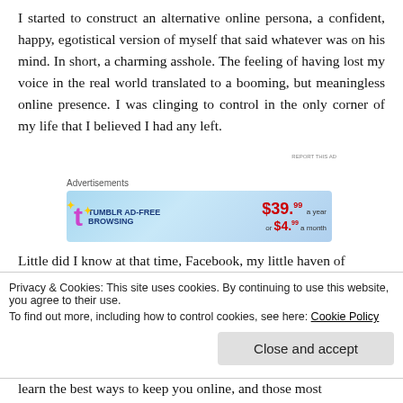I started to construct an alternative online persona, a confident, happy, egotistical version of myself that said whatever was on his mind. In short, a charming asshole. The feeling of having lost my voice in the real world translated to a booming, but meaningless online presence. I was clinging to control in the only corner of my life that I believed I had any left.
Advertisements
[Figure (illustration): Tumblr Ad-Free Browsing banner advertisement showing price $39.99 a year or $4.99 a month with Tumblr logo]
Little did I know at that time, Facebook, my little haven of
Privacy & Cookies: This site uses cookies. By continuing to use this website, you agree to their use. To find out more, including how to control cookies, see here: Cookie Policy
learn the best ways to keep you online, and those most